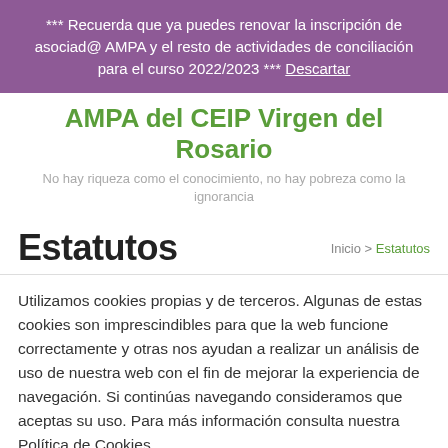*** Recuerda que ya puedes renovar la inscripción de asociad@ AMPA y el resto de actividades de conciliación para el curso 2022/2023 *** Descartar
AMPA del CEIP Virgen del Rosario
No hay riqueza como el conocimiento, no hay pobreza como la ignorancia
Estatutos
Inicio > Estatutos
Utilizamos cookies propias y de terceros. Algunas de estas cookies son imprescindibles para que la web funcione correctamente y otras nos ayudan a realizar un análisis de uso de nuestra web con el fin de mejorar la experiencia de navegación. Si continúas navegando consideramos que aceptas su uso. Para más información consulta nuestra Política de Cookies.